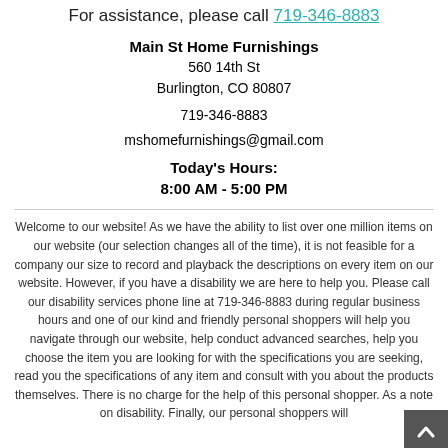For assistance, please call 719-346-8883
Main St Home Furnishings
560 14th St
Burlington, CO 80807
719-346-8883
mshomefurnishings@gmail.com
Today's Hours:
8:00 AM - 5:00 PM
Welcome to our website! As we have the ability to list over one million items on our website (our selection changes all of the time), it is not feasible for a company our size to record and playback the descriptions on every item on our website. However, if you have a disability we are here to help you. Please call our disability services phone line at 719-346-8883 during regular business hours and one of our kind and friendly personal shoppers will help you navigate through our website, help conduct advanced searches, help you choose the item you are looking for with the specifications you are seeking, read you the specifications of any item and consult with you about the products themselves. There is no charge for the help of this personal shopper. As a note on disability. Finally, our personal shoppers will